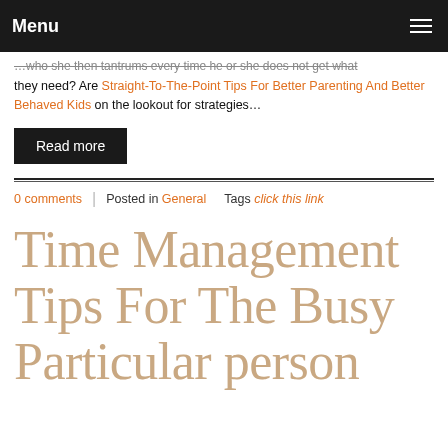Menu
…who she then tantrums every time he or she does not get what they need? Are Straight-To-The-Point Tips For Better Parenting And Better Behaved Kids on the lookout for strategies…
Read more
0 comments | Posted in General   Tags click this link
Time Management Tips For The Busy Particular person